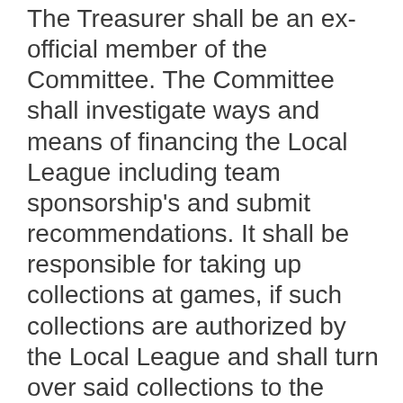The Treasurer shall be an ex-official member of the Committee. The Committee shall investigate ways and means of financing the Local League including team sponsorship's and submit recommendations. It shall be responsible for taking up collections at games, if such collections are authorized by the Local League and shall turn over said collections to the Treasurer immediately after each game.
SECTION 4
Building and Property Committee, (May be combined with Grounds Committee) The Board of Directors may appoint a Building and Property Committee consisting of three (3) Directors and...